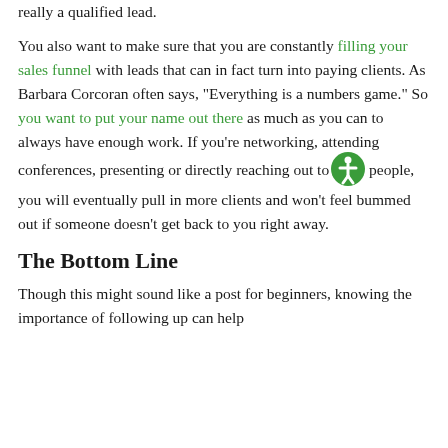really a qualified lead.
You also want to make sure that you are constantly filling your sales funnel with leads that can in fact turn into paying clients. As Barbara Corcoran often says, "Everything is a numbers game." So you want to put your name out there as much as you can to always have enough work. If you're networking, attending conferences, presenting or directly reaching out to people, you will eventually pull in more clients and won't feel bummed out if someone doesn't get back to you right away.
The Bottom Line
Though this might sound like a post for beginners, knowing the importance of following up can help